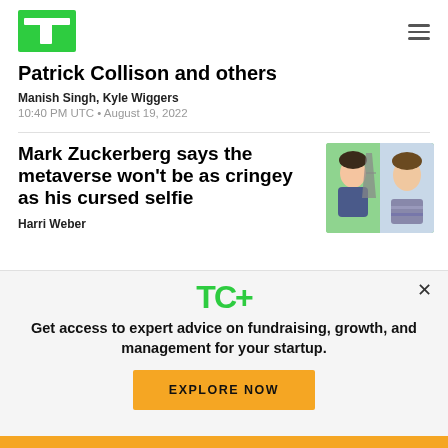TechCrunch
Patrick Collison and others
Manish Singh, Kyle Wiggers
10:40 PM UTC • August 19, 2022
Mark Zuckerberg says the metaverse won't be as cringey as his cursed selfie
Harri Weber
[Figure (photo): Thumbnail image of Mark Zuckerberg metaverse avatar and selfie photo with Eiffel Tower]
Get access to expert advice on fundraising, growth, and management for your startup.
EXPLORE NOW